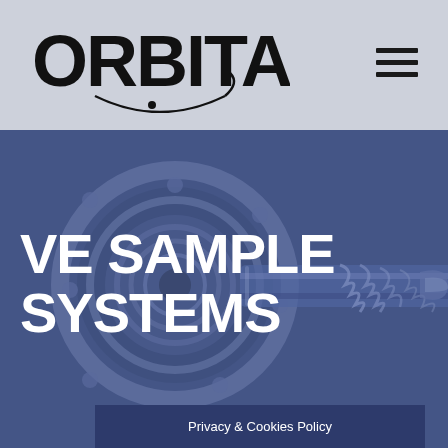ORBITAL
[Figure (photo): Industrial mechanical component (flanged shaft/pipe fitting with screw threads) shown against a blue-tinted background, used as hero image]
VE SAMPLE SYSTEMS
Privacy & Cookies Policy